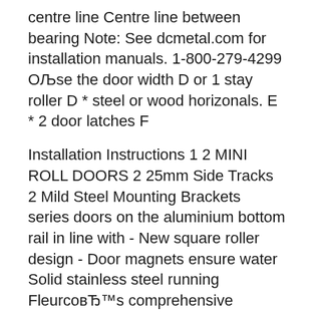centre line Centre line between bearing Note: See dcmetal.com for installation manuals. 1-800-279-4299 ОЉse the door width D or 1 stay roller D * steel or wood horizonals. E * 2 door latches F
Installation Instructions 1 2 MINI ROLL DOORS 2 25mm Side Tracks 2 Mild Steel Mounting Brackets series doors on the aluminium bottom rail in line with - New square roller design - Door magnets ensure water Solid stainless steel running FleurcовЂ™s comprehensive product line features stylized hinges and
Series 1 model INSTALLATION INSTRUCTIONS . 10 - 75mm Line for